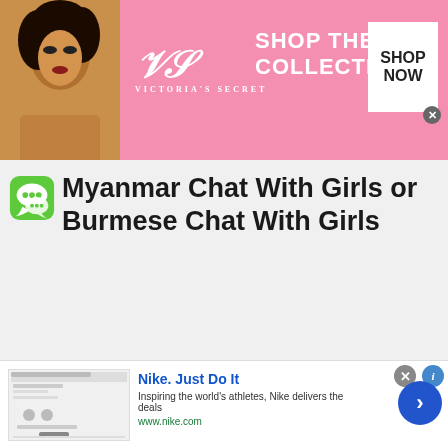[Figure (advertisement): Victoria's Secret banner advertisement with a woman model on the left, VS logo in center, 'SHOP THE COLLECTION' text, and 'SHOP NOW' button on the right, pink background]
Myanmar Chat With Girls or Burmese Chat With Girls
[Figure (advertisement): Nike advertisement with 'Nike. Just Do It' headline, 'Inspiring the world's athletes, Nike delivers the deals', www.nike.com URL, Nike website thumbnail on left, blue arrow button on right]